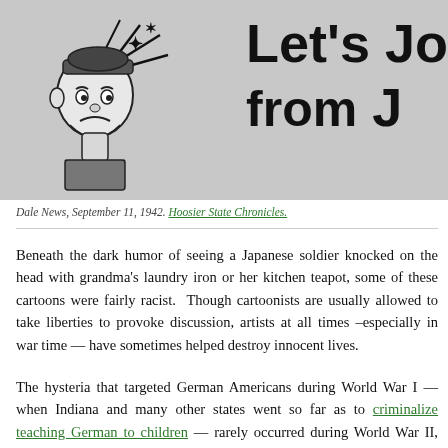[Figure (illustration): Newspaper comic/cartoon image showing a cartoon figure (soldier) on the left with lines indicating impact, and large bold headline text reading 'Let's Jo' and 'from' on the right, from Dale News September 11 1942]
Dale News, September 11, 1942. Hoosier State Chronicles.
Beneath the dark humor of seeing a Japanese soldier knocked on the head with grandma's laundry iron or her kitchen teapot, some of these cartoons were fairly racist.  Though cartoonists are usually allowed to take liberties to provoke discussion, artists at all times –especially in war time — have sometimes helped destroy innocent lives.
The hysteria that targeted German Americans during World War I — when Indiana and many other states went so far as to criminalize teaching German to children — rarely occurred during World War II, though about 11,000 German nationals